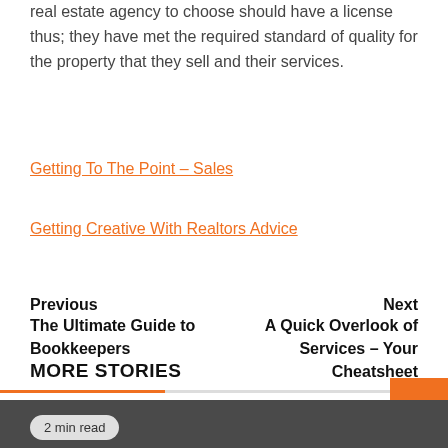real estate agency to choose should have a license thus; they have met the required standard of quality for the property that they sell and their services.
Getting To The Point – Sales
Getting Creative With Realtors Advice
Previous
The Ultimate Guide to Bookkeepers
Next
A Quick Overlook of Services – Your Cheatsheet
MORE STORIES
2 min read